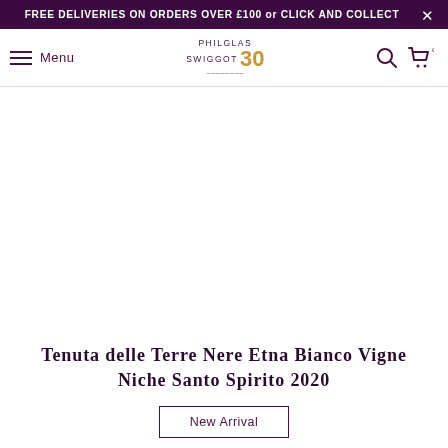FREE DELIVERIES ON ORDERS OVER £100 or CLICK AND COLLECT
Menu | Philglas Swiggot 30
[Figure (photo): Large white/blank product image area for wine bottle]
Tenuta delle Terre Nere Etna Bianco Vigne Niche Santo Spirito 2020
New Arrival